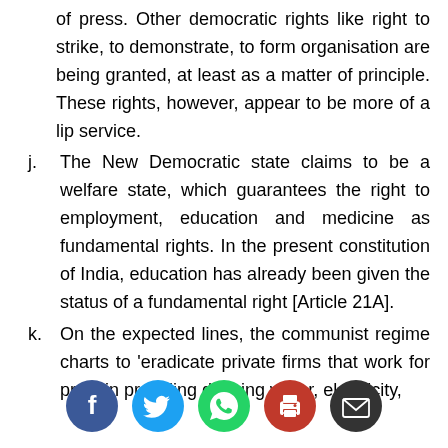of press. Other democratic rights like right to strike, to demonstrate, to form organisation are being granted, at least as a matter of principle. These rights, however, appear to be more of a lip service.
j. The New Democratic state claims to be a welfare state, which guarantees the right to employment, education and medicine as fundamental rights. In the present constitution of India, education has already been given the status of a fundamental right [Article 21A].
k. On the expected lines, the communist regime charts to 'eradicate private firms that work for profit in providing drinking water, electricity,
[Figure (infographic): Social media sharing icons row: Facebook (blue circle with f), Twitter (blue circle with bird), WhatsApp (green circle with phone), Print (red circle with printer), Email (dark circle with envelope)]